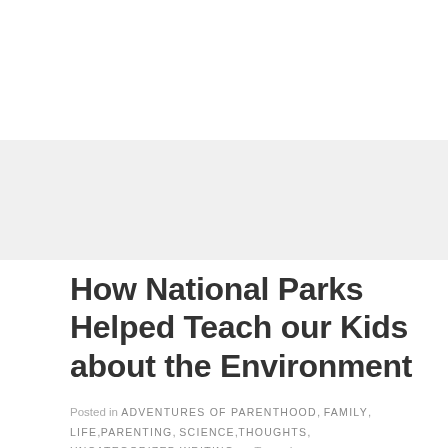How National Parks Helped Teach our Kids about the Environment
Posted in ADVENTURES OF PARENTHOOD, FAMILY, LIFE, PARENTING, SCIENCE, THOUGHTS, UNCATEGORIZED, WRITING • Tagged ENVIRONMENT, FAMILY, KIDS, LIFE, NATURE, PARENTING, THOUGHTS, TRAVEL, WRITING • 3 COMMENTS